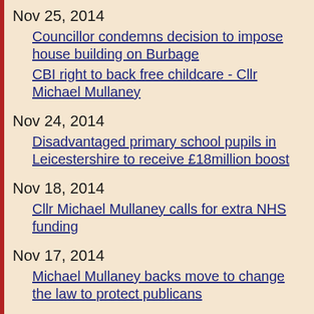Nov 25, 2014
Councillor condemns decision to impose house building on Burbage
CBI right to back free childcare - Cllr Michael Mullaney
Nov 24, 2014
Disadvantaged primary school pupils in Leicestershire to receive £18million boost
Nov 18, 2014
Cllr Michael Mullaney calls for extra NHS funding
Nov 17, 2014
Michael Mullaney backs move to change the law to protect publicans
Nov 14, 2014
Liberal Democrats created 840 new apprentices in Hinckley and Bosworth in last year -Cllr Michael Mullaney
Nov 11, 2014
One in a Million - tribute paid to the Trustees in